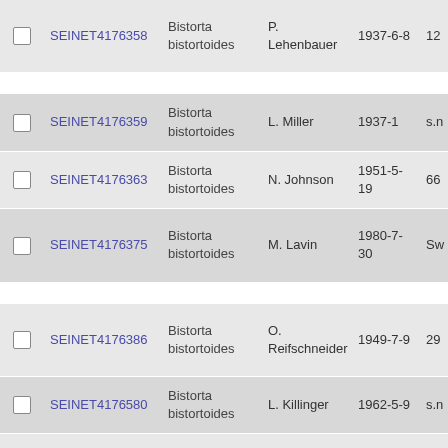|  | ID | Species | Collector | Date |  |
| --- | --- | --- | --- | --- | --- |
| ☐ | SEINET4176358 | Bistorta bistortoides | P. Lehenbauer | 1937-6-8 | 12 |
| ☐ | SEINET4176359 | Bistorta bistortoides | L. Miller | 1937-1 | s.n |
| ☐ | SEINET4176363 | Bistorta bistortoides | N. Johnson | 1951-5-19 | 66 |
| ☐ | SEINET4176375 | Bistorta bistortoides | M. Lavin | 1980-7-30 | Sw |
| ☐ | SEINET4176386 | Bistorta bistortoides | O. Reifschneider | 1949-7-9 | 29 |
| ☐ | SEINET4176580 | Bistorta bistortoides | L. Killinger | 1962-5-9 | s.n |
| ☐ | SEINET4176591 | Bistorta bistortoides | A. A. Heller, P. Kennedy | 1907-7-9 | 87 |